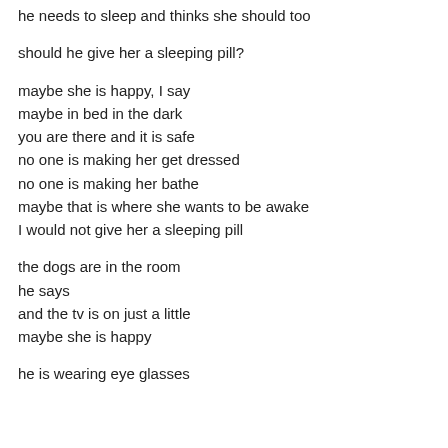he needs to sleep and thinks she should too
should he give her a sleeping pill?
maybe she is happy, I say
maybe in bed in the dark
you are there and it is safe
no one is making her get dressed
no one is making her bathe
maybe that is where she wants to be awake
I would not give her a sleeping pill
the dogs are in the room
he says
and the tv is on just a little
maybe she is happy
he is wearing eye glasses